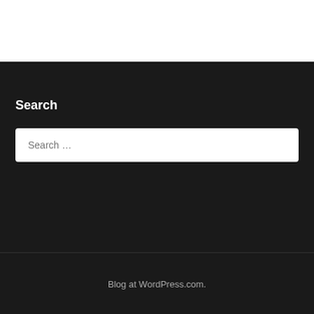Search
Search …
Blog at WordPress.com.